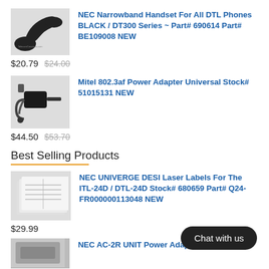[Figure (photo): Black telephone handset product image]
NEC Narrowband Handset For All DTL Phones BLACK / DT300 Series ~ Part# 690614 Part# BE109008 NEW
$20.79  $24.00
[Figure (photo): Mitel power adapter with cables product image]
Mitel 802.3af Power Adapter Universal Stock# 51015131 NEW
$44.50  $53.70
Best Selling Products
[Figure (photo): NEC UNIVERGE DESI Laser Labels product image]
NEC UNIVERGE DESI Laser Labels For The ITL-24D / DTL-24D Stock# 680659 Part# Q24-FR000000113048 NEW
$29.99
[Figure (photo): NEC AC-2R UNIT Power Adapter product image]
NEC AC-2R UNIT Power Adapter (Part#